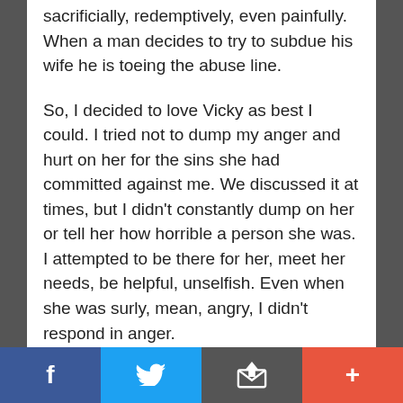sacrificially, redemptively, even painfully. When a man decides to try to subdue his wife he is toeing the abuse line.

So, I decided to love Vicky as best I could. I tried not to dump my anger and hurt on her for the sins she had committed against me. We discussed it at times, but I didn't constantly dump on her or tell her how horrible a person she was. I attempted to be there for her, meet her needs, be helpful, unselfish. Even when she was surly, mean, angry, I didn't respond in anger.
[Figure (screenshot): Mobile app toolbar with four buttons: Facebook (blue), Twitter (light blue), Share/Email (dark gray), and Plus/More (orange-red)]